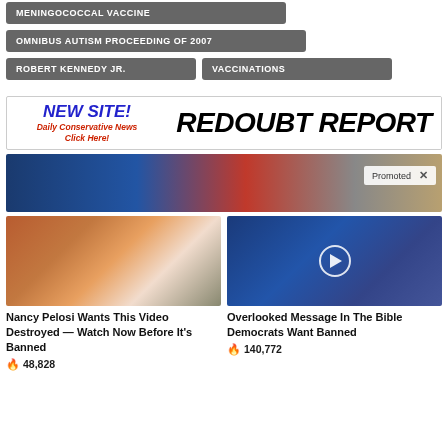MENINGOCOCCAL VACCINE
OMNIBUS AUTISM PROCEEDING OF 2007
ROBERT KENNEDY JR.
VACCINATIONS
[Figure (infographic): Advertisement banner: NEW SITE! Daily Conservative News Click Here! REDOUBT REPORT]
[Figure (photo): Promoted banner image with man in front of American flag, with Promoted label and X close button]
[Figure (photo): Article card: Nancy Pelosi in orange jacket, with a man in background]
Nancy Pelosi Wants This Video Destroyed — Watch Now Before It's Banned
🔥 48,828
[Figure (photo): Article card: Man in suit with red tie speaking, with play button overlay]
Overlooked Message In The Bible Democrats Want Banned
🔥 140,772